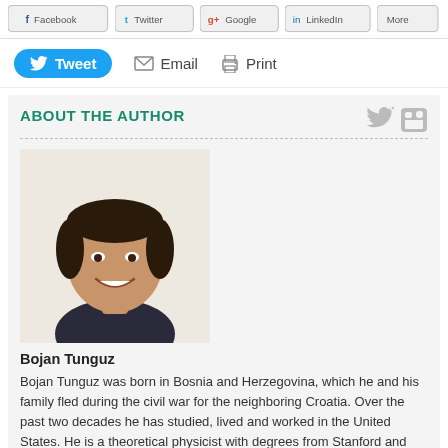[Figure (screenshot): Share buttons row: Facebook, Twitter, Google, LinkedIn, More]
[Figure (infographic): Action bar with Tweet button (blue, rounded), Email link with envelope icon, Print link with printer icon]
ABOUT THE AUTHOR
[Figure (photo): Headshot photo of Bojan Tunguz, a young man with dark hair, smiling, wearing a dark shirt]
Bojan Tunguz
Bojan Tunguz was born in Bosnia and Herzegovina, which he and his family fled during the civil war for the neighboring Croatia. Over the past two decades he has studied, lived and worked in the United States. He is a theoretical physicist with degrees from Stanford and University of Illinois. Tunguz has taught physics at several prominent liberal arts colleges